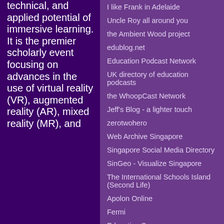technical, and applied potential of immersive learning. It is the premier scholarly event focusing on advances in the use of virtual reality (VR), augmented reality (AR), mixed reality (MR), and
I like Frank in Adelaide
Uncle Roy all around you
the Ambient Wood project
edublog.net
Education Podcast Network
UK directory of education podcasts
the WhoopCast Network
Jeff's Blog - a lighter touch
zerotwohero
Web Archive Singapore
Singapore Social Media Directory
SinGeo - Visualize Singapore
The International Schools Island (Second Life)
Apolon Online
Fermi
Education Soon
baker Blinker's Weblog